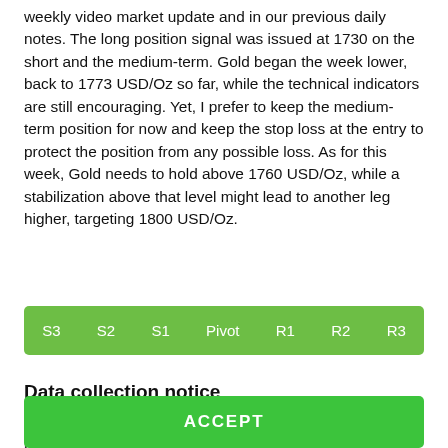weekly video market update and in our previous daily notes. The long position signal was issued at 1730 on the short and the medium-term. Gold began the week lower, back to 1773 USD/Oz so far, while the technical indicators are still encouraging. Yet, I prefer to keep the medium-term position for now and keep the stop loss at the entry to protect the position from any possible loss. As for this week, Gold needs to hold above 1760 USD/Oz, while a stabilization above that level might lead to another leg higher, targeting 1800 USD/Oz.
| S3 | S2 | S1 | Pivot | R1 | R2 | R3 |
| --- | --- | --- | --- | --- | --- | --- |
Data collection notice
FBS maintains a record of your data to run this website. By pressing the “Accept” button, you agree to our Privacy policy.
ACCEPT